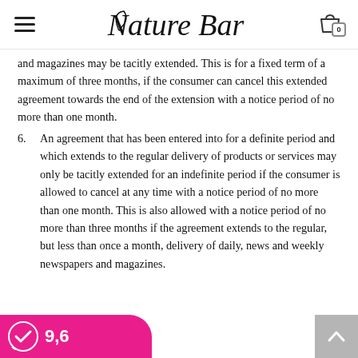Nature Bar
and magazines may be tacitly extended. This is for a fixed term of a maximum of three months, if the consumer can cancel this extended agreement towards the end of the extension with a notice period of no more than one month.
6. An agreement that has been entered into for a definite period and which extends to the regular delivery of products or services may only be tacitly extended for an indefinite period if the consumer is allowed to cancel at any time with a notice period of no more than one month. This is also allowed with a notice period of no more than three months if the agreement extends to the regular, but less than once a month, delivery of daily, news and weekly newspapers and magazines.